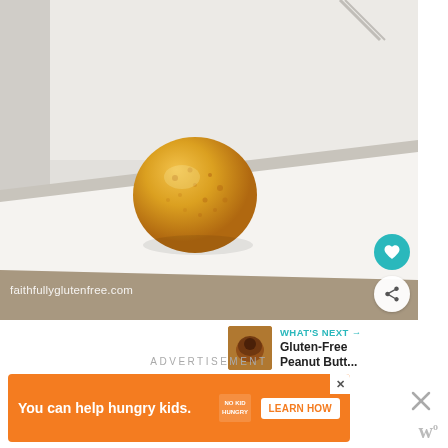[Figure (photo): A golden-colored dough ball or cookie dough ball sitting on a white parchment-lined baking sheet. The ball is textured and rough-surfaced, golden/amber in color. In the background, a fork or utensil is partially visible. The watermark 'faithfullyglutenfree.com' appears at the bottom left of the image.]
faithfullyglutenfree.com
WHAT'S NEXT → Gluten-Free Peanut Butt...
ADVERTISEMENT
You can help hungry kids.  NO KID HUNGRY  LEARN HOW